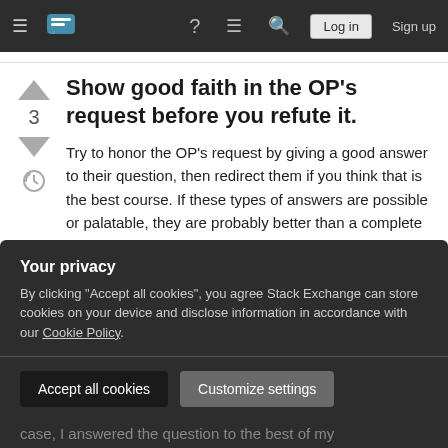Stack Exchange navigation bar with Log in and Sign up buttons
Show good faith in the OP's request before you refute it.
Try to honor the OP's request by giving a good answer to their question, then redirect them if you think that is the best course. If these types of answers are possible or palatable, they are probably better than a complete redirect without answering the question. I am not necessarily saying you
Your privacy
By clicking "Accept all cookies", you agree Stack Exchange can store cookies on your device and disclose information in accordance with our Cookie Policy.
case, I answered the question to the best of my